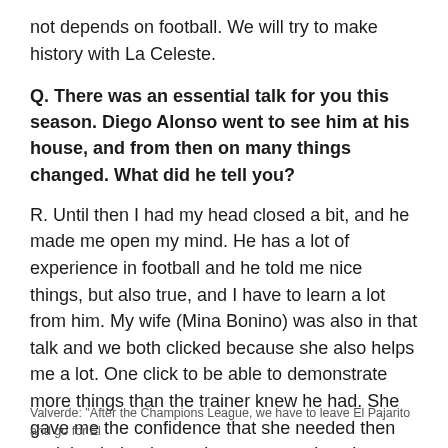not depends on football. We will try to make history with La Celeste.
Q. There was an essential talk for you this season. Diego Alonso went to see him at his house, and from then on many things changed. What did he tell you?
R. Until then I had my head closed a bit, and he made me open my mind. He has a lot of experience in football and he told me nice things, but also true, and I have to learn a lot from him. My wife (Mina Bonino) was also in that talk and we both clicked because she also helps me a lot. One click to be able to demonstrate more things than the trainer knew he had. She gave me the confidence that she needed then and that helped me a lot to earn a place in Madrid. It was very helpful.
Valverde: "After the Champions League, we have to leave El Pajarito and go for El